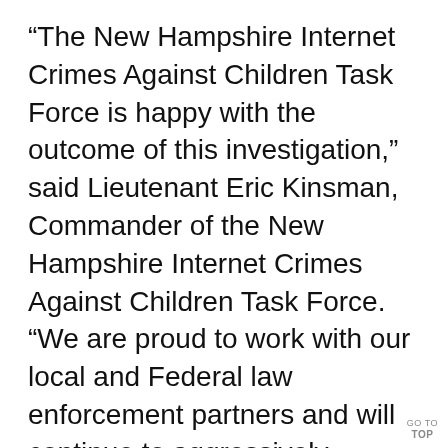“The New Hampshire Internet Crimes Against Children Task Force is happy with the outcome of this investigation,” said Lieutenant Eric Kinsman, Commander of the New Hampshire Internet Crimes Against Children Task Force.  “We are proud to work with our local and Federal law enforcement partners and will continue to aggressively investigate these crimes and protect the children of New Hampshire.”

        This matter was investigated by Homeland Security Investigations, th…